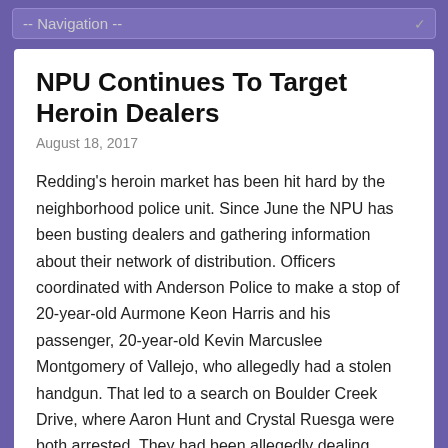-- Navigation --
NPU Continues To Target Heroin Dealers
August 18, 2017
Redding's heroin market has been hit hard by the neighborhood police unit. Since June the NPU has been busting dealers and gathering information about their network of distribution. Officers coordinated with Anderson Police to make a stop of 20-year-old Aurmone Keon Harris and his passenger, 20-year-old Kevin Marcuslee Montgomery of Vallejo, who allegedly had a stolen handgun. That led to a search on Boulder Creek Drive, where Aaron Hunt and Crystal Ruesga were both arrested. They had been allegedly dealing heroin independently of each other and officers seized a total of 1.3 ounces of the drug. Another search warrant on Boulder Creek Drive led to another contact with Aurmone Harris and the reported seizure of 6.4 grams of heroin. Rene Harris and Alyce McCoy were also arrested and two